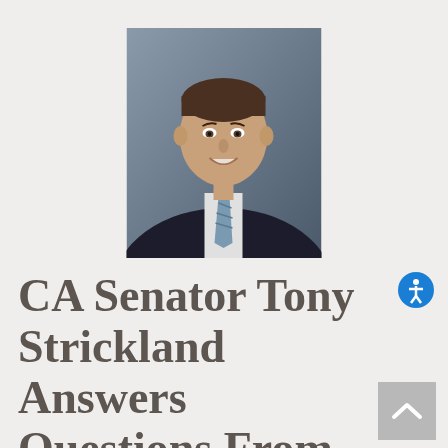[Figure (photo): Headshot photo of CA Senator Tony Strickland, a man in a dark suit with a blue/gray tie and white shirt, smiling, photographed against a gray background.]
CA Senator Tony Strickland Answers Questions From Alliance Members